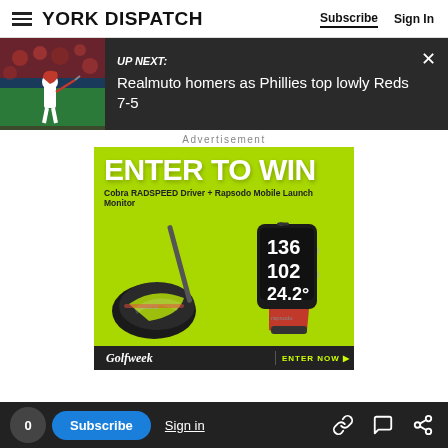YORK DISPATCH — Subscribe | Sign In
[Figure (screenshot): Up Next banner with baseball player thumbnail. Text reads: UP NEXT: Realmuto homers as Phillies top lowly Reds 7-5]
Advertisement
[Figure (photo): Advertisement: ENTER TO WIN Cobra RADSPEED Driver + Rapsodo Mobile Launch Monitor. Golfweek | ENTER NOW]
0 | Subscribe | Sign in | [link icon] [comment icon] [share icon]